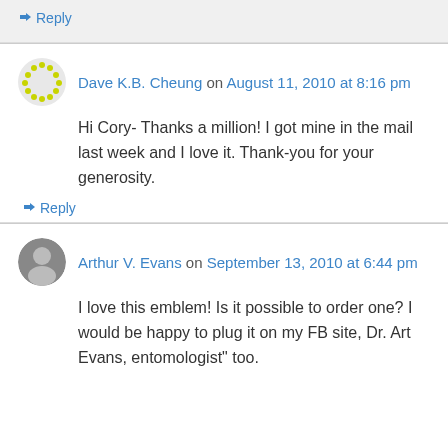↳ Reply
Dave K.B. Cheung on August 11, 2010 at 8:16 pm
Hi Cory- Thanks a million! I got mine in the mail last week and I love it. Thank-you for your generosity.
↳ Reply
Arthur V. Evans on September 13, 2010 at 6:44 pm
I love this emblem! Is it possible to order one? I would be happy to plug it on my FB site, Dr. Art Evans, entomologist" too.